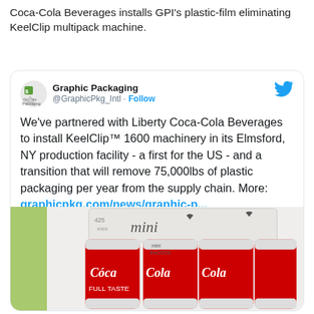Coca-Cola Beverages installs GPI's plastic-film eliminating KeelClip multipack machine.
[Figure (screenshot): Screenshot of a Twitter post by @GraphicPkg_Intl (Graphic Packaging) announcing a partnership with Liberty Coca-Cola Beverages to install KeelClip™ 1600 machinery in Elmsford, NY — removing 75,000lbs of plastic packaging per year. Includes a link to graphicpkg.com/news/graphic-p... and a photo of Coca-Cola mini cans held together by a KeelClip cardboard multipack clip.]